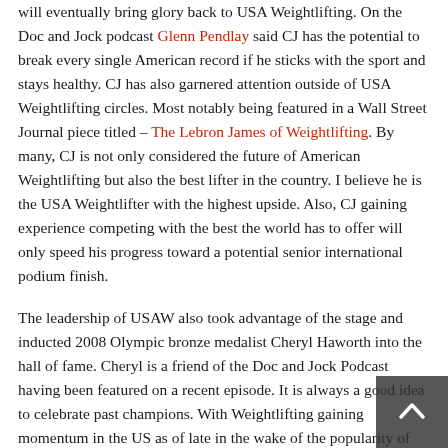will eventually bring glory back to USA Weightlifting. On the Doc and Jock podcast Glenn Pendlay said CJ has the potential to break every single American record if he sticks with the sport and stays healthy. CJ has also garnered attention outside of USA Weightlifting circles. Most notably being featured in a Wall Street Journal piece titled – The Lebron James of Weightlifting. By many, CJ is not only considered the future of American Weightlifting but also the best lifter in the country. I believe he is the USA Weightlifter with the highest upside. Also, CJ gaining experience competing with the best the world has to offer will only speed his progress toward a potential senior international podium finish.
The leadership of USAW also took advantage of the stage and inducted 2008 Olympic bronze medalist Cheryl Haworth into the hall of fame. Cheryl is a friend of the Doc and Jock Podcast having been featured on a recent episode. It is always a good idea to celebrate past champions. With Weightlifting gaining momentum in the US as of late in the wake of the popularity of CrossFit I thought it was a classy and smart move to highlight a past champion. You can listen to Cheryl's Doc and Jock interview here, or check out a